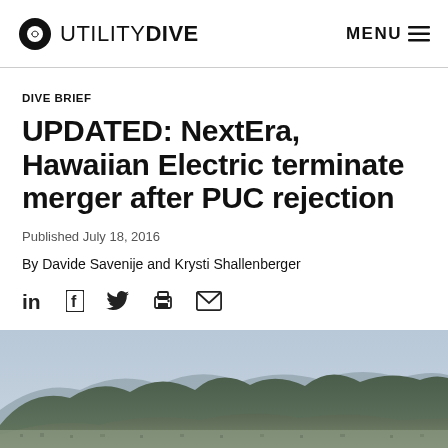UTILITY DIVE   MENU
DIVE BRIEF
UPDATED: NextEra, Hawaiian Electric terminate merger after PUC rejection
Published July 18, 2016
By Davide Savenije and Krysti Shallenberger
[Figure (other): Social sharing icons: LinkedIn, Facebook, Twitter, Print, Email]
[Figure (photo): Aerial photo of Hawaiian mountain landscape with city below]